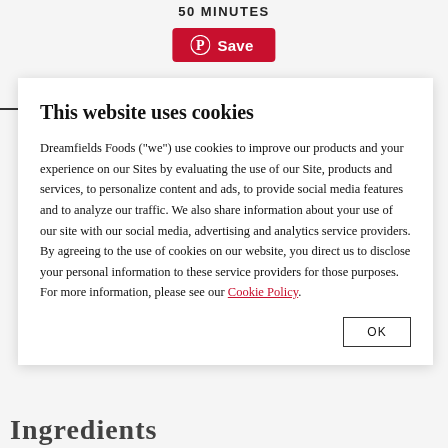50 MINUTES
[Figure (other): Pinterest Save button in red with Pinterest logo]
This website uses cookies
Dreamfields Foods (“we”) use cookies to improve our products and your experience on our Sites by evaluating the use of our Site, products and services, to personalize content and ads, to provide social media features and to analyze our traffic. We also share information about your use of our site with our social media, advertising and analytics service providers. By agreeing to the use of cookies on our website, you direct us to disclose your personal information to these service providers for those purposes. For more information, please see our Cookie Policy.
OK
Ingredients